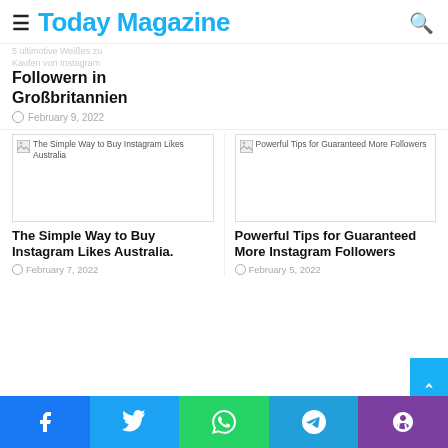Today Magazine
5 ultimative Weißes zu Kaufen von Instagram Followern in Großbritannien
February 9, 2022
[Figure (photo): Thumbnail image: The Simple Way to Buy Instagram Likes Australia]
[Figure (photo): Thumbnail image: Powerful Tips for Guaranteed More Followers]
The Simple Way to Buy Instagram Likes Australia.
February 7, 2022
Powerful Tips for Guaranteed More Instagram Followers
February 5, 2022